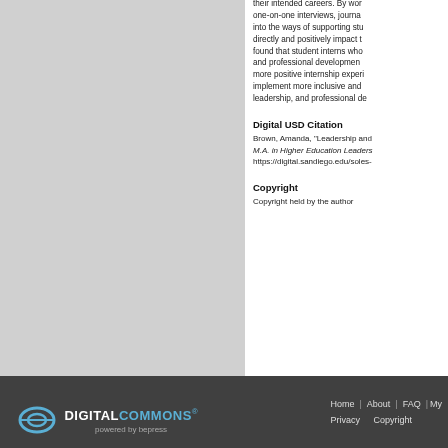their intended careers. By working through one-on-one interviews, journal... into the ways of supporting stu... directly and positively impact th... found that student interns who... and professional development... more positive internship experi... implement more inclusive and... leadership, and professional de...
Digital USD Citation
Brown, Amanda, "Leadership and... M.A. in Higher Education Leaders... https://digital.sandiego.edu/soles-...
Copyright
Copyright held by the author
DigitalCommons® powered by bepress   Home | About | FAQ | My... Privacy   Copyright